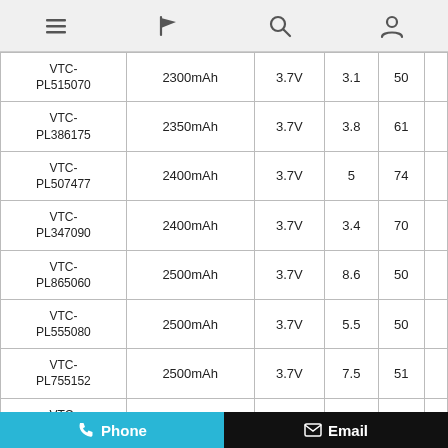Navigation bar with menu, flag, search, and account icons
| Model | Capacity | Voltage | Col4 | Col5 |
| --- | --- | --- | --- | --- |
| VTC-PL515070 | 2300mAh | 3.7V | 3.1 | 50 |
| VTC-PL386175 | 2350mAh | 3.7V | 3.8 | 61 |
| VTC-PL507477 | 2400mAh | 3.7V | 5 | 74 |
| VTC-PL347090 | 2400mAh | 3.7V | 3.4 | 70 |
| VTC-PL865060 | 2500mAh | 3.7V | 8.6 | 50 |
| VTC-PL555080 | 2500mAh | 3.7V | 5.5 | 50 |
| VTC-PL755152 | 2500mAh | 3.7V | 7.5 | 51 |
| VTC-PL335985 | 2500mAh | 3.7V | 3.3 | 59 |
Phone | Email